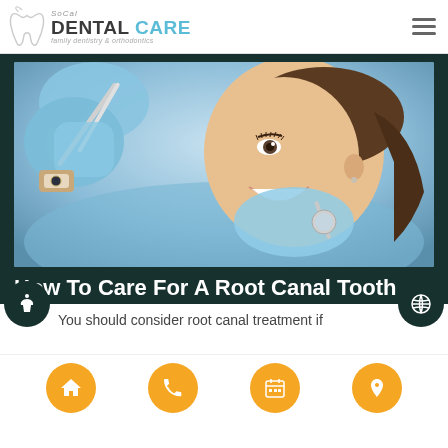SoCal DENTAL CARE family dentistry & orthodontics
[Figure (photo): A smiling young woman reclining in a dental chair while a dental professional in blue gloves holds dental instruments near her mouth.]
How To Care For A Root Canal Tooth
You should consider root canal treatment if
Navigation icons: home, phone, calendar, location